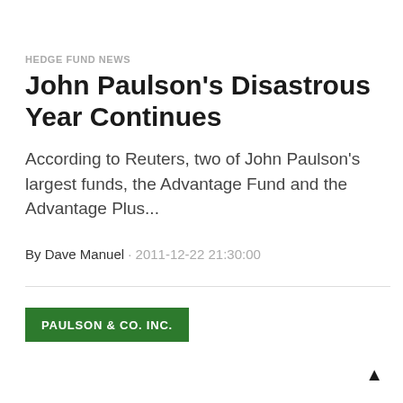HEDGE FUND NEWS
John Paulson's Disastrous Year Continues
According to Reuters, two of John Paulson's largest funds, the Advantage Fund and the Advantage Plus...
By Dave Manuel · 2011-12-22 21:30:00
[Figure (logo): Paulson & Co. Inc. green logo box with white text]
▲